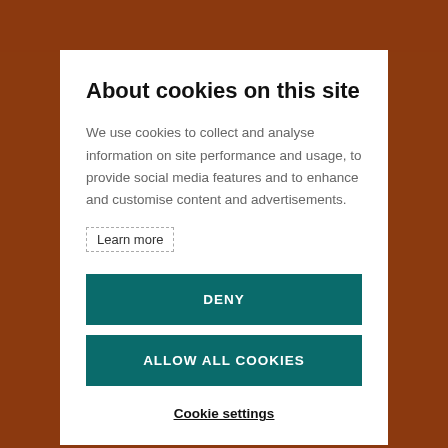About cookies on this site
We use cookies to collect and analyse information on site performance and usage, to provide social media features and to enhance and customise content and advertisements.
Learn more
DENY
ALLOW ALL COOKIES
Cookie settings